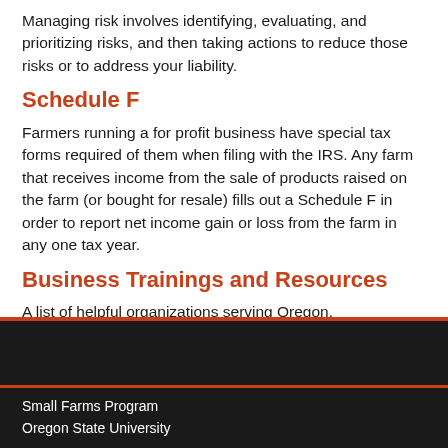Managing risk involves identifying, evaluating, and prioritizing risks, and then taking actions to reduce those risks or to address your liability.
Schedule F
Farmers running a for profit business have special tax forms required of them when filing with the IRS. Any farm that receives income from the sale of products raised on the farm (or bought for resale) fills out a Schedule F in order to report net income gain or loss from the farm in any one tax year.
Business Trainings and Resources
A list of helpful organizations serving Oregon.
Small Farms Program
Oregon State University